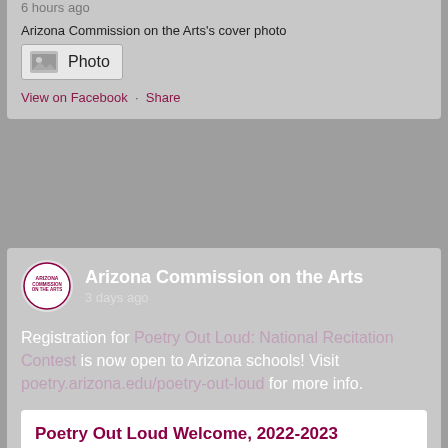their cover photo.
6 hours ago
Arizona Commission on the Arts's cover photo
[Figure (screenshot): Photo placeholder box with image icon and label 'Photo']
View on Facebook · Share
Arizona Commission on the Arts
3 days ago
Registration for Poetry Out Loud: National Recitation Contest is now open to Arizona schools! Visit poetry.arizona.edu/poetry-out-loud for more info.
Poetry Out Loud Welcome, 2022-2023
www.youtube.com
Poetry Out Loud Southern Region Coordinator, Sophie Daws, welcomes educators and students to Arizona's 2022-2023 season of Poetry Out Loud.